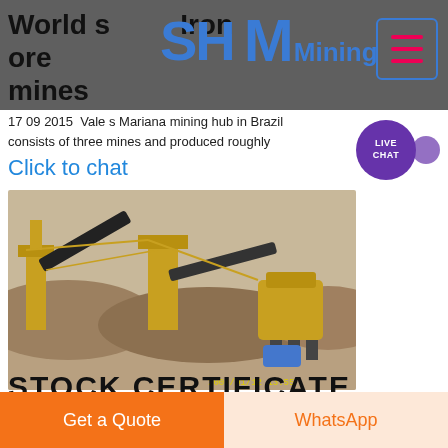World s p Iron ore mines
[Figure (logo): SH MMining logo in blue letters]
[Figure (other): Hamburger menu button with pink/red lines, blue border]
[Figure (other): Live Chat bubble in purple]
17 09 2015  Vale s Mariana mining hub in Brazil consists of three mines and produced roughly
Click to chat
[Figure (photo): Aerial view of mining crushing equipment and conveyor belts, yellow machinery, arid landscape, timestamp 2009/01/12 13:55]
STOCK CERTIFICATE
Get a Quote
WhatsApp